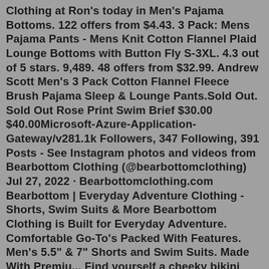Clothing at Ron's today in Men's Pajama Bottoms. 122 offers from $4.43. 3 Pack: Mens Pajama Pants - Mens Knit Cotton Flannel Plaid Lounge Bottoms with Button Fly S-3XL. 4.3 out of 5 stars. 9,489. 48 offers from $32.99. Andrew Scott Men's 3 Pack Cotton Flannel Fleece Brush Pajama Sleep & Lounge Pants.Sold Out. Sold Out Rose Print Swim Brief $30.00 $40.00Microsoft-Azure-Application-Gateway/v281.1k Followers, 347 Following, 391 Posts - See Instagram photos and videos from Bearbottom Clothing (@bearbottomclothing) Jul 27, 2022 · Bearbottomclothing.com Bearbottom | Everyday Adventure Clothing - Shorts, Swim Suits & More Bearbottom Clothing is Built for Everyday Adventure. Comfortable Go-To's Packed With Features. Men's 5.5" & 7" Shorts and Swim Suits. Made With Premiu... Find yourself a cheeky bikini bottom in a floral or tie-dye pattern for the ultimate summery look, or get cute skirt-style swimwear for those pool swims. Keep it stylish with a mid-waist cheeky in bright colors, or go for the classic beach